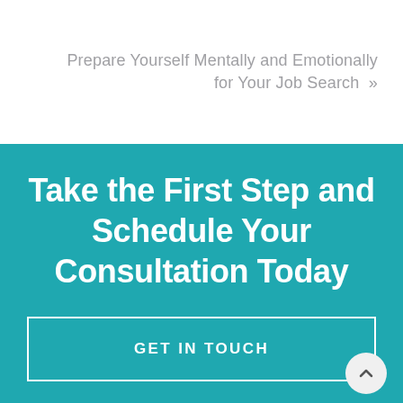Prepare Yourself Mentally and Emotionally for Your Job Search »
Take the First Step and Schedule Your Consultation Today
GET IN TOUCH